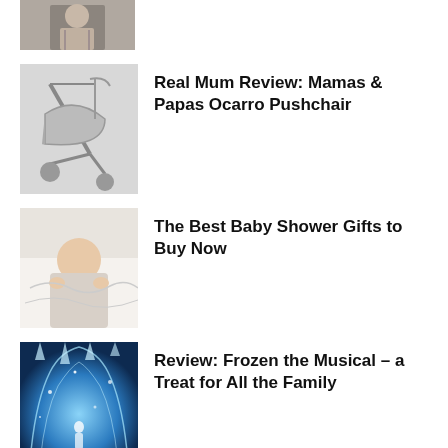[Figure (photo): Partial image of a person at top, cropped]
[Figure (photo): Grey pushchair / stroller product photo]
Real Mum Review: Mamas & Papas Ocarro Pushchair
[Figure (photo): Baby lying on white fabric, baby shower gifts context]
The Best Baby Shower Gifts to Buy Now
[Figure (photo): Frozen the Musical stage scene with blue icy backdrop]
Review: Frozen the Musical – a Treat for All the Family
[Figure (other): Advertisement banner with pink bubbly ORY logo on purple background]